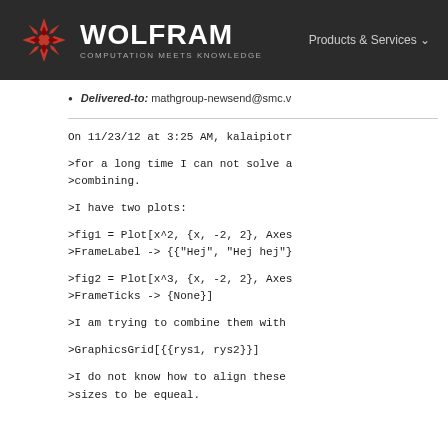WOLFRAM COMPUTATION MEETS KNOWLEDGE | Products & Services
Delivered-to: mathgroup-newsend@smc.v
On 11/23/12 at 3:25 AM, kalaipiotr
>for a long time I can not solve a
>combining.
>I have two plots:
>fig1 = Plot[x^2, {x, -2, 2}, Axes
>FrameLabel -> {{"Hej", "Hej hej"}
>fig2 = Plot[x^3, {x, -2, 2}, Axes
>FrameTicks -> {None}]
>I am trying to combine them with
>GraphicsGrid[{{rys1, rys2}}]
>I do not know how to align these
>sizes to be equeal.